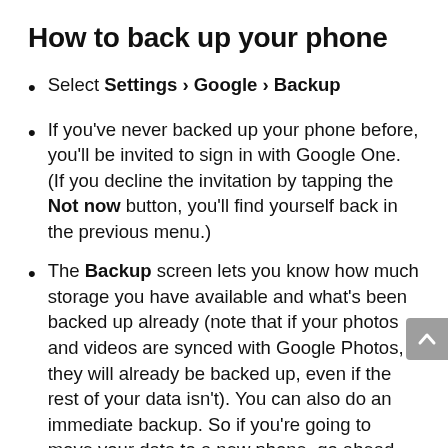How to back up your phone
Select Settings › Google › Backup
If you've never backed up your phone before, you'll be invited to sign in with Google One. (If you decline the invitation by tapping the Not now button, you'll find yourself back in the previous menu.)
The Backup screen lets you know how much storage you have available and what's been backed up already (note that if your photos and videos are synced with Google Photos, they will already be backed up, even if the rest of your data isn't). You can also do an immediate backup. So if you're going to move your data to a new phone, go ahead and tap on Back up now. (It may be a good idea to check where your phone's battery is and